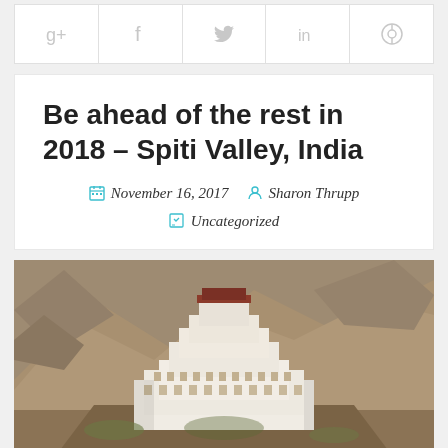[Figure (other): Social sharing bar with icons for Google+, Facebook, Twitter, LinkedIn, and Pinterest]
Be ahead of the rest in 2018 – Spiti Valley, India
November 16, 2017  Sharon Thrupp  Uncategorized
[Figure (photo): Photograph of a Tibetan Buddhist monastery (Key Monastery) built on a hilltop surrounded by barren mountain terrain in Spiti Valley, India. White multi-storey buildings stacked on rocky outcrop.]